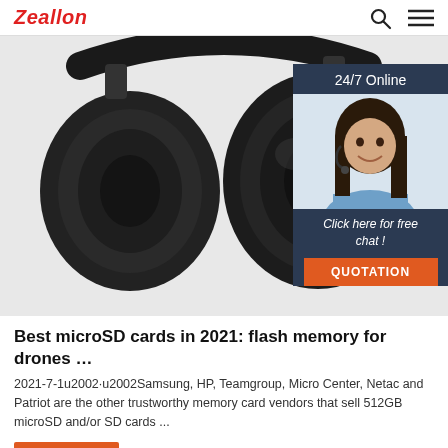Zeallon
[Figure (photo): Black over-ear headphones on white/grey background, shown from side angle]
[Figure (infographic): 24/7 Online chat widget with female customer service agent wearing headset, 'Click here for free chat!' text and orange QUOTATION button]
Best microSD cards in 2021: flash memory for drones …
2021-7-1u2002·u2002Samsung, HP, Teamgroup, Micro Center, Netac and Patriot are the other trustworthy memory card vendors that sell 512GB microSD and/or SD cards ...
Get Price